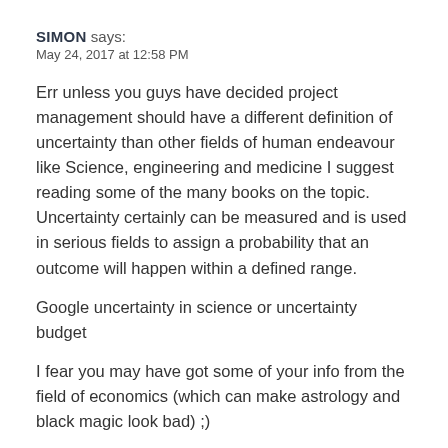SIMON says:
May 24, 2017 at 12:58 PM
Err unless you guys have decided project management should have a different definition of uncertainty than other fields of human endeavour like Science, engineering and medicine I suggest reading some of the many books on the topic. Uncertainty certainly can be measured and is used in serious fields to assign a probability that an outcome will happen within a defined range.
Google uncertainty in science or uncertainty budget
I fear you may have got some of your info from the field of economics (which can make astrology and black magic look bad) ;)
Reply